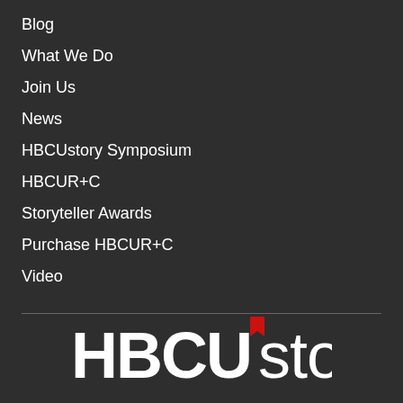Blog
What We Do
Join Us
News
HBCUstory Symposium
HBCUR+C
Storyteller Awards
Purchase HBCUR+C
Video
[Figure (logo): HBCUstory logo in white bold text with a red bookmark icon above the letter U]